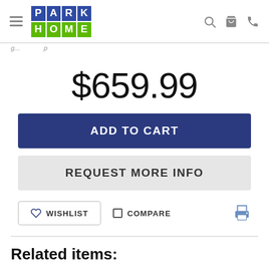PARK HOME (logo) navigation header
$659.99
ADD TO CART
REQUEST MORE INFO
WISHLIST
COMPARE
Related items: